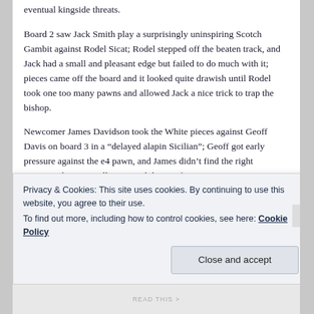eventual kingside threats.
Board 2 saw Jack Smith play a surprisingly uninspiring Scotch Gambit against Rodel Sicat; Rodel stepped off the beaten track, and Jack had a small and pleasant edge but failed to do much with it; pieces came off the board and it looked quite drawish until Rodel took one too many pawns and allowed Jack a nice trick to trap the bishop.
Newcomer James Davidson took the White pieces against Geoff Davis on board 3 in a “delayed alapin Sicilian”; Geoff got early pressure against the e4 pawn, and James didn’t find the right response; he eventually resigned down a few pieces.
Privacy & Cookies: This site uses cookies. By continuing to use this website, you agree to their use.
To find out more, including how to control cookies, see here: Cookie Policy